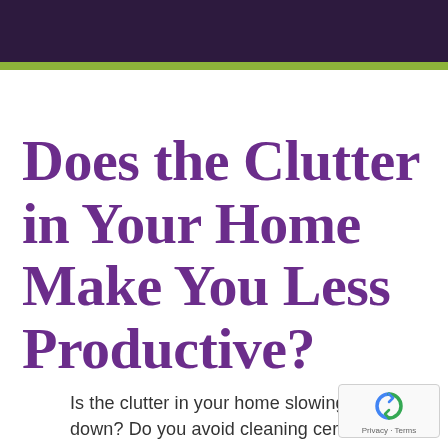Does the Clutter in Your Home Make You Less Productive?
Is the clutter in your home slowing you down? Do you avoid cleaning certain areas in your home because